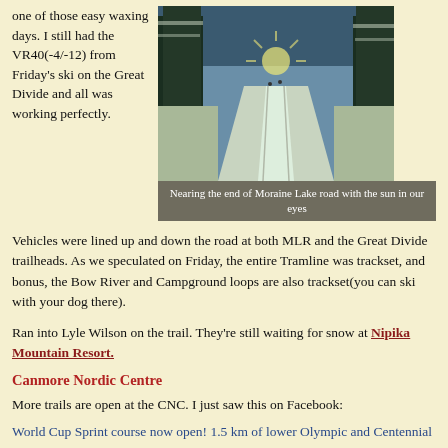one of those easy waxing days. I still had the VR40(-4/-12) from Friday's ski on the Great Divide and all was working perfectly.
[Figure (photo): Snowy road through forest, Moraine Lake road, with sun shining through trees]
Nearing the end of Moraine Lake road with the sun in our eyes
Vehicles were lined up and down the road at both MLR and the Great Divide trailheads. As we speculated on Friday, the entire Tramline was trackset, and bonus, the Bow River and Campground loops are also trackset(you can ski with your dog there).
Ran into Lyle Wilson on the trail. They're still waiting for snow at Nipika Mountain Resort.
Canmore Nordic Centre
More trails are open at the CNC. I just saw this on Facebook:
World Cup Sprint course now open! 1.5 km of lower Olympic and Centennial has been groomed and track set. Frozen Thunder was also groomed and track set this morning.